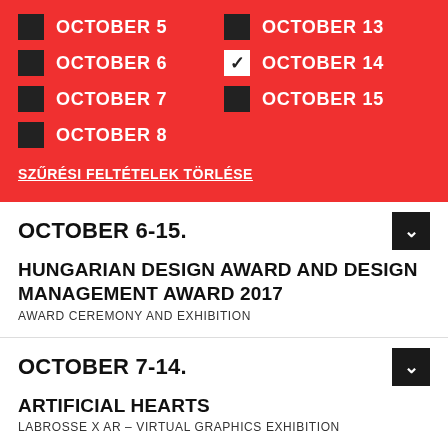OCTOBER 5
OCTOBER 13
OCTOBER 6
OCTOBER 14
OCTOBER 7
OCTOBER 15
OCTOBER 8
SZŰRÉSI FELTÉTELEK TÖRLÉSE
OCTOBER 6-15.
HUNGARIAN DESIGN AWARD AND DESIGN MANAGEMENT AWARD 2017
AWARD CEREMONY AND EXHIBITION
OCTOBER 7-14.
ARTIFICIAL HEARTS
LABROSSE X AR – VIRTUAL GRAPHICS EXHIBITION